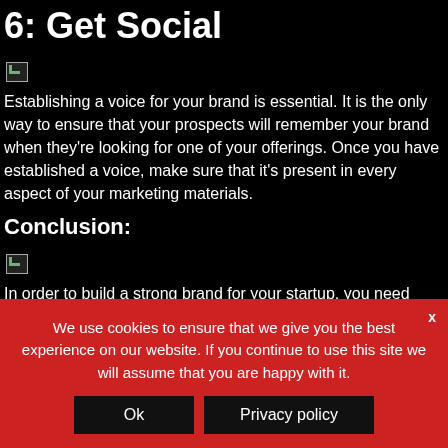6: Get Social
[Figure (other): Broken/missing image placeholder]
Establishing a voice for your brand is essential. It is the only way to ensure that your prospects will remember your brand when they’re looking for one of your offerings. Once you have established a voice, make sure that it’s present in every aspect of your marketing materials.
Conclusion:
[Figure (other): Broken/missing image placeholder]
In order to build a strong brand for your startup, you need
We use cookies to ensure that we give you the best experience on our website. If you continue to use this site we will assume that you are happy with it.